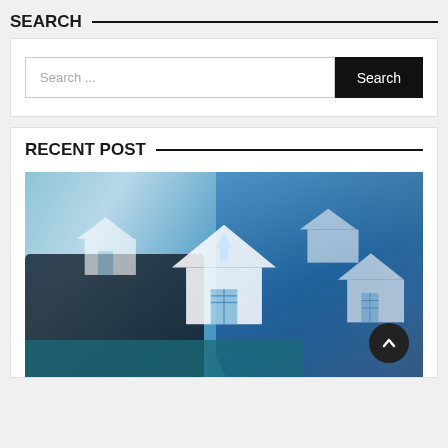SEARCH
Search ...
Search
RECENT POST
[Figure (photo): Person working on laptop with augmented reality house icons overlaid, representing real estate technology]